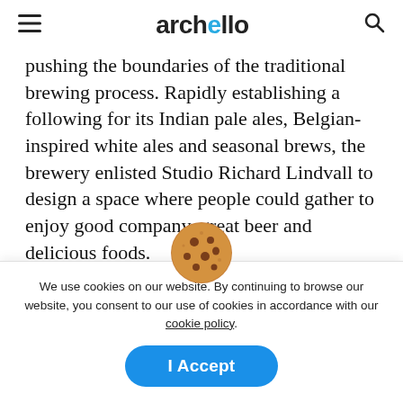archello
pushing the boundaries of the traditional brewing process. Rapidly establishing a following for its Indian pale ales, Belgian-inspired white ales and seasonal brews, the brewery enlisted Studio Richard Lindvall to design a space where people could gather to enjoy good company, great beer and delicious foods.
Tasked with creating a space that reflected the beer maker's exploratory approach to beer, Studio
We use cookies on our website. By continuing to browse our website, you consent to our use of cookies in accordance with our cookie policy.
I Accept